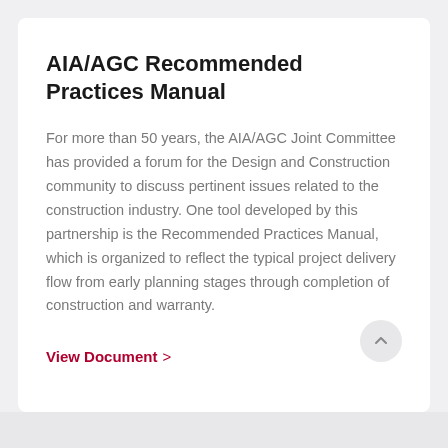AIA/AGC Recommended Practices Manual
For more than 50 years, the AIA/AGC Joint Committee has provided a forum for the Design and Construction community to discuss pertinent issues related to the construction industry. One tool developed by this partnership is the Recommended Practices Manual, which is organized to reflect the typical project delivery flow from early planning stages through completion of construction and warranty.
View Document >